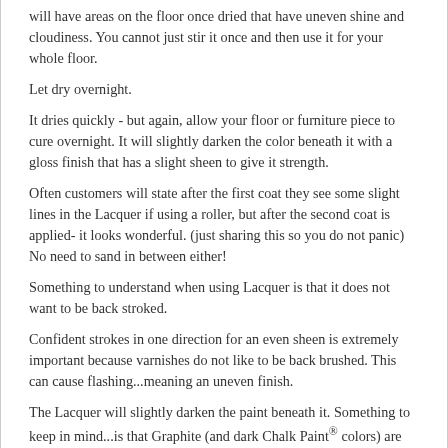will have areas on the floor once dried that have uneven shine and cloudiness. You cannot just stir it once and then use it for your whole floor.
Let dry overnight.
It dries quickly - but again, allow your floor or furniture piece to cure overnight. It will slightly darken the color beneath it with a gloss finish that has a slight sheen to give it strength.
Often customers will state after the first coat they see some slight lines in the Lacquer if using a roller, but after the second coat is applied- it looks wonderful. (just sharing this so you do not panic) No need to sand in between either!
Something to understand when using Lacquer is that it does not want to be back stroked.
Confident strokes in one direction for an even sheen is extremely important because varnishes do not like to be back brushed. This can cause flashing...meaning an uneven finish.
The Lacquer will slightly darken the paint beneath it. Something to keep in mind...is that Graphite (and dark Chalk Paint® colors) are notorious tattle talers! Meaning if the Lacquer is too thick- it will appear to be streaky or cloudy. The flattening agents in the Lacquer that give it its matte sheen create a cloudy or milky effect when the Lacquer is applied too thickly and this is more noticeable over darker colors. I hate to write this- but often repainting and then thinner layers of Lacquer applied with a sponge roller or brush is the correction. So, since you